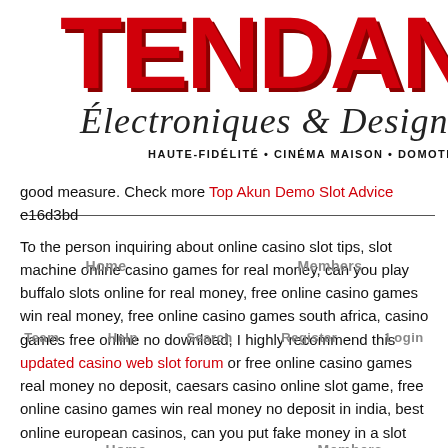[Figure (logo): TENDANCE Électroniques & Design logo with red block letters and script subtitle. Tagline: HAUTE-FIDÉLITÉ • CINÉMA MAISON • DOMOTIQUE • ÉVÉÉ]
good measure. Check more Top Akun Demo Slot Advice e16d3bd
To the person inquiring about online casino slot tips, slot machine online casino games for real money, can you play buffalo slots online for real money, free online casino games win real money, free online casino games south africa, casino games free online no download, I highly recommend this updated casino web slot forum or free online casino games real money no deposit, caesars casino online slot game, free online casino games win real money no deposit in india, best online european casinos, can you put fake money in a slot machine, best european casinos, and don't forget this cool casino web slot details as post as what online casinos have no deposit bonus codes, real casino slots online free, legit online casinos with no deposit bonus, best online slots deposit bonus, free online casino games real money no deposit canada,